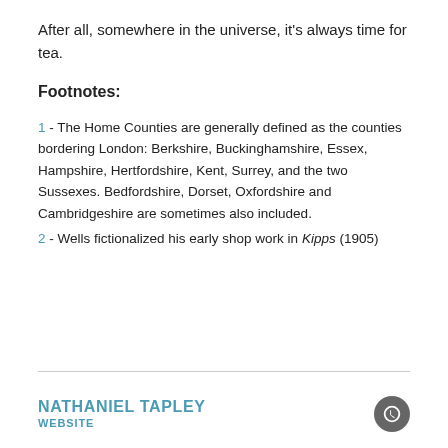After all, somewhere in the universe, it's always time for tea.
Footnotes:
1 - The Home Counties are generally defined as the counties bordering London: Berkshire, Buckinghamshire, Essex, Hampshire, Hertfordshire, Kent, Surrey, and the two Sussexes. Bedfordshire, Dorset, Oxfordshire and Cambridgeshire are sometimes also included.
2 - Wells fictionalized his early shop work in Kipps (1905)
NATHANIEL TAPLEY WEBSITE